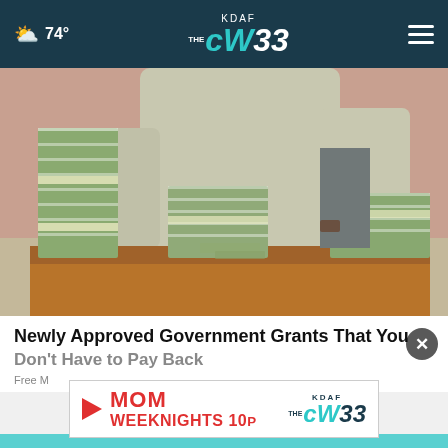KDAF CW33 — 74°
[Figure (photo): Stacks of bundled currency bills piled high on a table, with a person in a light-colored robe standing behind them.]
Newly Approved Government Grants That You Don't Have to Pay Back
Free Money
[Figure (other): MOM WEEKNIGHTS 10P advertisement banner with KDAF CW33 logo]